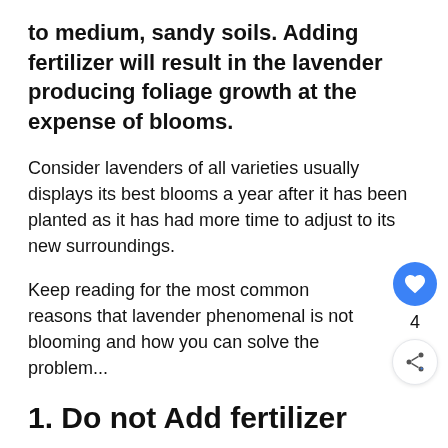to medium, sandy soils. Adding fertilizer will result in the lavender producing foliage growth at the expense of blooms.
Consider lavenders of all varieties usually displays its best blooms a year after it has been planted as it has had more time to adjust to its new surroundings.
Keep reading for the most common reasons that lavender phenomenal is not blooming and how you can solve the problem...
1. Do not Add fertilizer
The most common reason for lavender phenomenal to not bloom to its full potential is usually because of